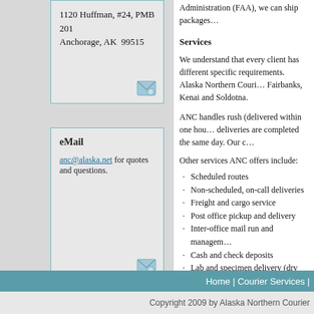1120 Huffman, #24, PMB 201
Anchorage, AK  99515
eMail
anc@alaska.net for quotes and questions.
Administration (FAA), we can ship packages...
Services
We understand that every client has different specific requirements. Alaska Northern Courier... Fairbanks, Kenai and Soldotna.
ANC handles rush (delivered within one hour... deliveries are completed the same day. Our c...
Other services ANC offers include:
Scheduled routes
Non-scheduled, on-call deliveries
Freight and cargo service
Post office pickup and delivery
Inter-office mail run and management
Cash and check deposits
Lab and specimen delivery (dry ic...
Forwarding service for freight, pa... DHL and Airborne
Logistics management, planning a...
Don't see what you need listed? Just ask!
Home | Courier Services |
Copyright 2009 by Alaska Northern Courier